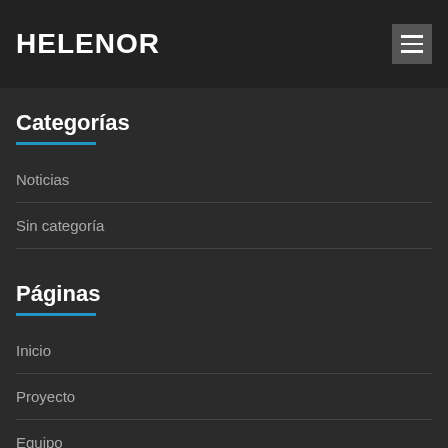HELENOR
Categorías
Noticias
Sin categoría
Páginas
Inicio
Proyecto
Equipo
Publicaciones
María Rosa lla García Bellido…